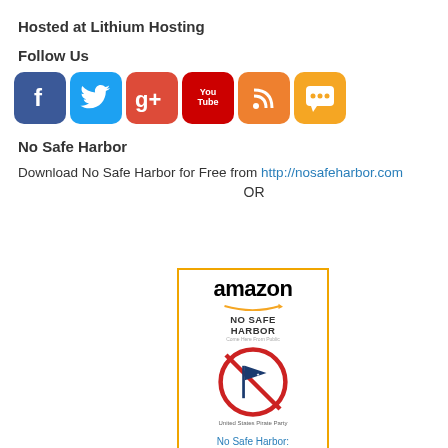Hosted at Lithium Hosting
Follow Us
[Figure (illustration): Row of social media icons: Facebook (blue), Twitter (light blue), Google+ (red), YouTube (red with You/Tube logo), RSS feed (orange), Chat/messaging (orange)]
No Safe Harbor
Download No Safe Harbor for Free from http://nosafeharbor.com
OR
[Figure (screenshot): Amazon product widget showing the book 'No Safe Harbor: United States...' priced at $9.99 with Prime badge and a Shop now button. Features the Amazon logo with orange arrow, book cover showing Pirate Party logo, and a gold Shop now bar at bottom.]